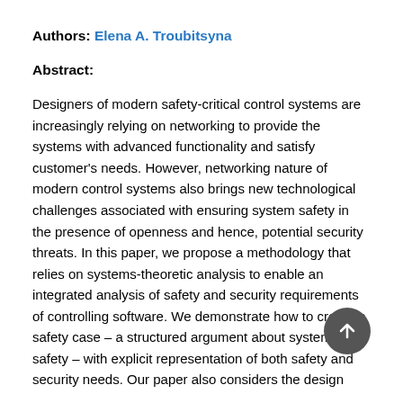Authors: Elena A. Troubitsyna
Abstract:
Designers of modern safety-critical control systems are increasingly relying on networking to provide the systems with advanced functionality and satisfy customer's needs. However, networking nature of modern control systems also brings new technological challenges associated with ensuring system safety in the presence of openness and hence, potential security threats. In this paper, we propose a methodology that relies on systems-theoretic analysis to enable an integrated analysis of safety and security requirements of controlling software. We demonstrate how to create a safety case – a structured argument about system safety – with explicit representation of both safety and security needs. Our paper also considers the design...